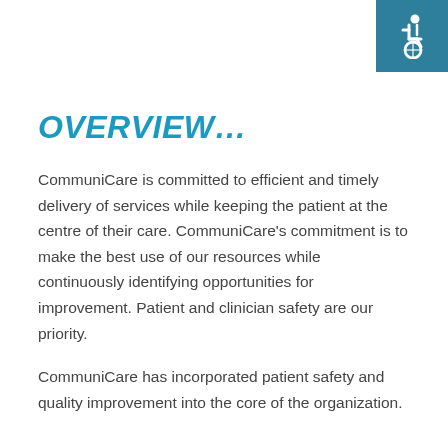[Figure (logo): Wheelchair accessibility icon (white figure in wheelchair on teal/dark blue square background), positioned in top-right corner]
OVERVIEW…
CommuniCare is committed to efficient and timely delivery of services while keeping the patient at the centre of their care. CommuniCare's commitment is to make the best use of our resources while continuously identifying opportunities for improvement. Patient and clinician safety are our priority.
CommuniCare has incorporated patient safety and quality improvement into the core of the organization.